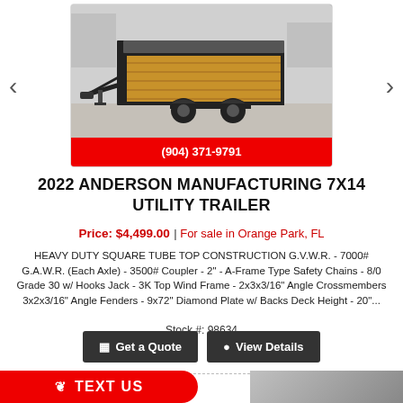[Figure (photo): Photo of a 2022 Anderson Manufacturing 7x14 utility trailer with wooden deck, black steel frame, shown in a lot. Navigation arrows on left and right. Phone number (904) 371-9791 on red banner below image.]
2022 ANDERSON MANUFACTURING 7X14 UTILITY TRAILER
Price: $4,499.00  |  For sale in Orange Park, FL
HEAVY DUTY SQUARE TUBE TOP CONSTRUCTION G.V.W.R. - 7000# G.A.W.R. (Each Axle) - 3500# Coupler - 2" - A-Frame Type Safety Chains - 8/0 Grade 30 w/ Hooks Jack - 3K Top Wind Frame - 2x3x3/16" Angle Crossmembers 3x2x3/16" Angle Fenders - 9x72" Diamond Plate w/ Backs Deck Height - 20"...
Stock #: 98634
Get a Quote
View Details
TEXT US